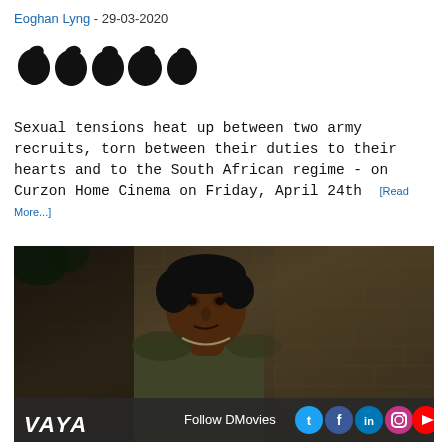Eoghan Lyng - 29-03-2020
[Figure (illustration): Five black star/blob shapes representing a rating]
Sexual tensions heat up between two army recruits, torn between their duties to their hearts and to the South African regime - on Curzon Home Cinema on Friday, April 24th [Read More...]
[Figure (photo): Movie still from VAYA showing a young Black man in a tank top looking to the side, seated against a brick wall background. The image has a dark, cinematic tone.]
Follow DMovies [Twitter] [Facebook] [LinkedIn] [Instagram] [YouTube]